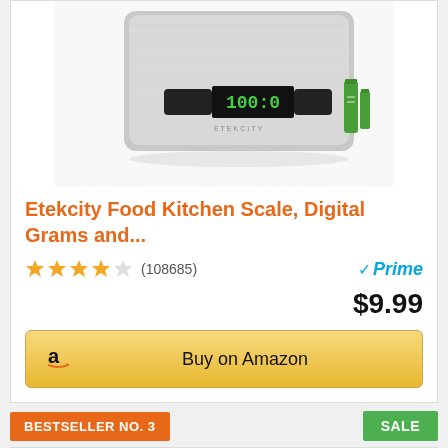[Figure (photo): Photo of Etekcity digital food kitchen scale, stainless steel with digital display showing 100.0, two green AAA batteries beside it]
Etekcity Food Kitchen Scale, Digital Grams and...
★★★★½ (108685) Prime $9.99
Buy on Amazon
BESTSELLER NO. 3
SALE
[Figure (photo): Partial image of The Complete Anti-Inflammatory book cover with food plate]